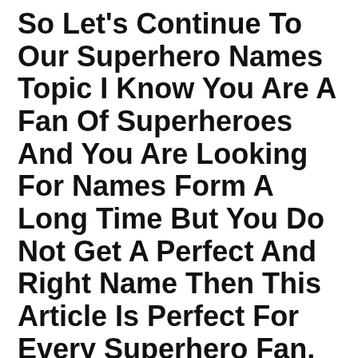So Let's Continue To Our Superhero Names Topic I Know You Are A Fan Of Superheroes And You Are Looking For Names Form A Long Time But You Do Not Get A Perfect And Right Name Then This Article Is Perfect For Every Superhero Fan.
Play on zoom as an individual or as a team with members of your household. To help schools overcome teaching staff shortages worldwide. kahoot! Show off your superhero